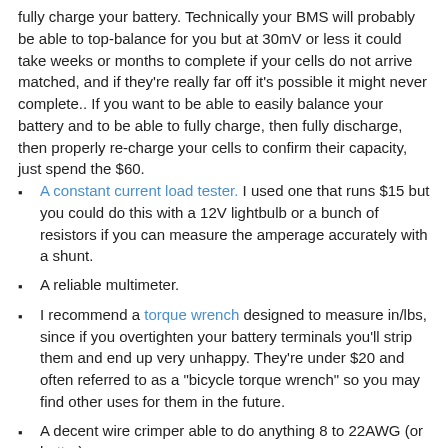fully charge your battery. Technically your BMS will probably be able to top-balance for you but at 30mV or less it could take weeks or months to complete if your cells do not arrive matched, and if they’re really far off it’s possible it might never complete.. If you want to be able to easily balance your battery and to be able to fully charge, then fully discharge, then properly re-charge your cells to confirm their capacity, just spend the $60.
A constant current load tester. I used one that runs $15 but you could do this with a 12V lightbulb or a bunch of resistors if you can measure the amperage accurately with a shunt.
A reliable multimeter.
I recommend a torque wrench designed to measure in/lbs, since if you overtighten your battery terminals you’ll strip them and end up very unhappy. They’re under $20 and often referred to as a “bicycle torque wrench” so you may find other uses for them in the future.
A decent wire crimper able to do anything 8 to 22AWG (or better)
Decent wire strippers. A heat gun (or aim-n-flame) will help with heat shrink too.
Step 1: Battery Cell Balancing
If you’re patient, the preferred method for doing the initial battery cell